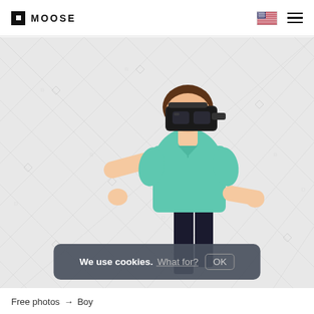MOOSE
[Figure (photo): A boy wearing a VR headset and teal polo shirt, standing with arms slightly out, on a light gray background with watermark diamond pattern overlay]
We use cookies. What for? OK
Free photos → Boy